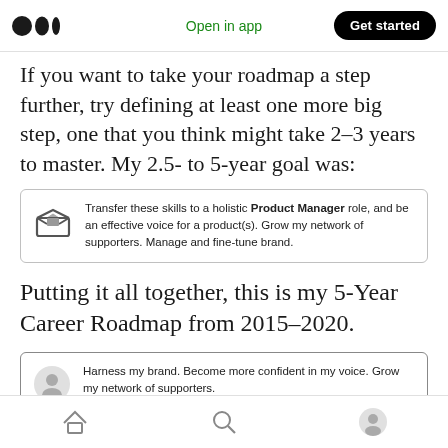Medium logo | Open in app | Get started
If you want to take your roadmap a step further, try defining at least one more big step, one that you think might take 2–3 years to master. My 2.5- to 5-year goal was:
[Figure (infographic): Box icon with text: Transfer these skills to a holistic Product Manager role, and be an effective voice for a product(s). Grow my network of supporters. Manage and fine-tune brand.]
Putting it all together, this is my 5-Year Career Roadmap from 2015–2020.
[Figure (infographic): Card with person/avatar icon and text: Harness my brand. Become more confident in my voice. Grow my network of supporters.]
Home | Search | Profile navigation icons